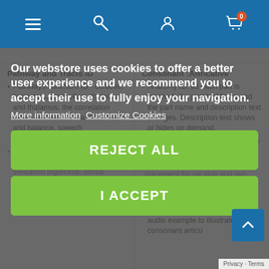Navigation bar with menu, search, profile, and cart icons
| Pathway and Tracts ID | Consonant :Affricative |
| --- | --- |
| Pathways: structure ID - cortices, brainstem, cerebellum, thalamus and thalamus, the correlation views. Animations - audition listen and balance, speech communication, movement views | Anatomy ID: as each part is touched, the part highlights and the part name and description text changes. Description text shows or hides on demand.
Anatomy view - 26 parts, includes nose, mouth an throat structure ID. Zoom and pan
placement for six stop and two... |
| balance, speech communication and corticobulbar, vision, sensation trigeminal, dorsal column and spinothalamic, movement rubrospinal, ... | Stops: /b/, /d/, /g/, /p/, /t/, /k/ Affricates: /dʒ/, /tʃ/
Includes a word and sentence audio example to illustrate consonant articu... |
Our webstore uses cookies to offer a better user experience and we recommend you to accept their use to fully enjoy your navigation.
More information   Customize Cookies
REJECT ALL
I ACCEPT